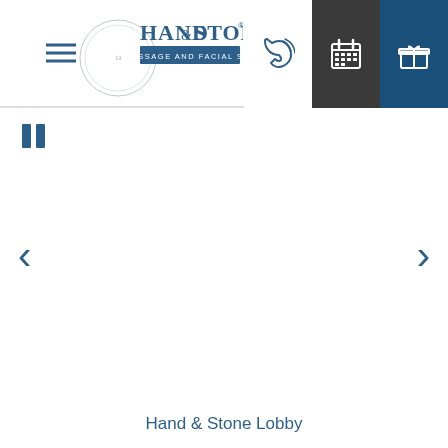[Figure (logo): Hand & Stone Massage and Facial Spa logo with circular seal]
[Figure (screenshot): Carousel slideshow area - currently showing a white/blank slide with pause button, left arrow, right arrow navigation controls]
Hand & Stone Lobby